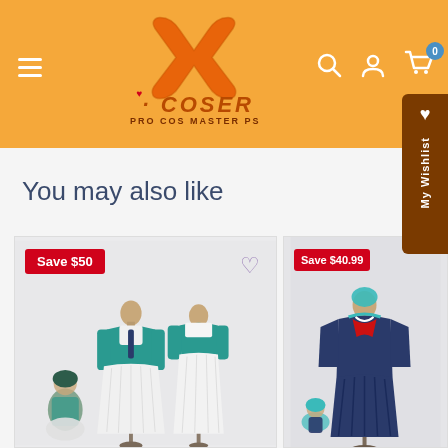[Figure (screenshot): XCoser Pro Cos Master PS website header with orange background, X logo in orange, navigation icons (search, account, cart with 0 badge), hamburger menu, and My Wishlist tab on the right side]
You may also like
[Figure (photo): Cosplay costume product card with Save $50 badge in red. Shows two mannequins wearing teal/green jacket with white dress costume set, with a small character figure. Purple heart wishlist icon visible.]
[Figure (photo): Cosplay costume product card with Save $40.99 badge in red. Shows mannequin in dark navy blue outfit with teal accents and a small character figure.]